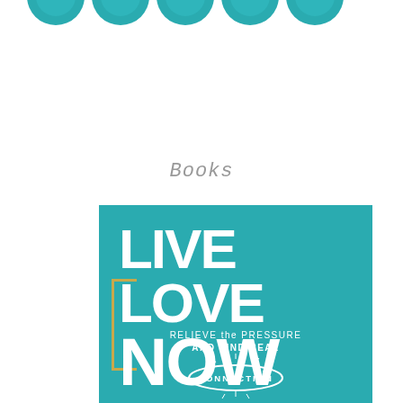[Figure (illustration): Row of teal/green circular icons partially visible at the top of the page]
Books
[Figure (photo): Book cover for 'Live Love Now: Relieve the Pressure and Find Real Connection' on a teal background with large white hand-lettered title text and a gold vertical bar accent on the left side]